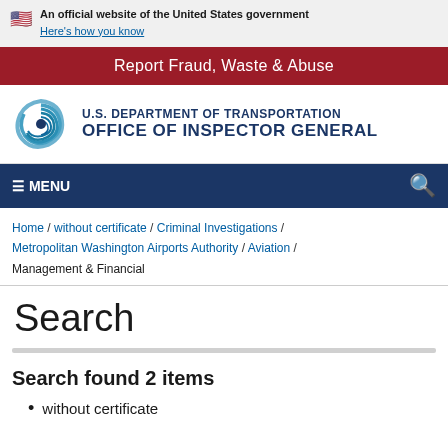An official website of the United States government
Here's how you know
Report Fraud, Waste & Abuse
[Figure (logo): U.S. Department of Transportation Office of Inspector General logo with circular swirl emblem]
≡ MENU
Home / without certificate / Criminal Investigations / Metropolitan Washington Airports Authority / Aviation / Management & Financial
Search
Search found 2 items
without certificate